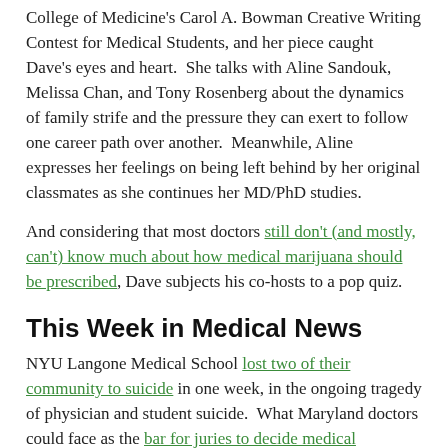College of Medicine's Carol A. Bowman Creative Writing Contest for Medical Students, and her piece caught Dave's eyes and heart.  She talks with Aline Sandouk, Melissa Chan, and Tony Rosenberg about the dynamics of family strife and the pressure they can exert to follow one career path over another.  Meanwhile, Aline expresses her feelings on being left behind by her original classmates as she continues her MD/PhD studies.
And considering that most doctors still don't (and mostly, can't) know much about how medical marijuana should be prescribed, Dave subjects his co-hosts to a pop quiz.
This Week in Medical News
NYU Langone Medical School lost two of their community to suicide in one week, in the ongoing tragedy of physician and student suicide.  What Maryland doctors could face as the bar for juries to decide medical malpractice is lowered.  Is Iowa's